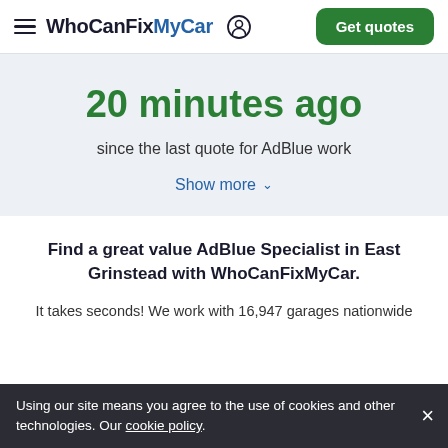WhoCanFixMyCar — Get quotes
20 minutes ago
since the last quote for AdBlue work
Show more
Find a great value AdBlue Specialist in East Grinstead with WhoCanFixMyCar.
It takes seconds! We work with 16,947 garages nationwide …hips. …ding far estimates among and will send local, competitive, quotes straight to your inbox. Plus you can…
Using our site means you agree to the use of cookies and other technologies. Our cookie policy.